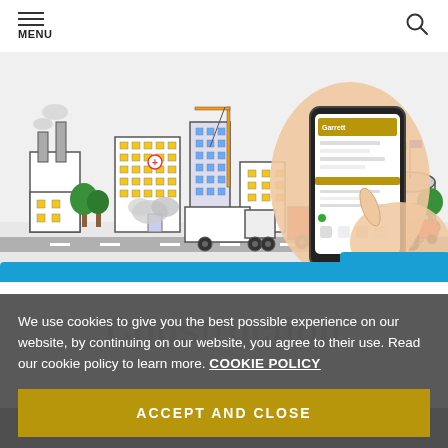MENU
[Figure (illustration): Smart city illustration showing urban scene with buildings, vehicles (truck, bus, cars), trees, and hands holding a smartphone with a Garrett app/interface on screen. Colorful line-art style.]
Construction
We use cookies to give you the best possible experience on our website, by continuing on our website, you agree to their use. Read our cookie policy to learn more. COOKIE POLICY
ACCEPT AND CLOSE